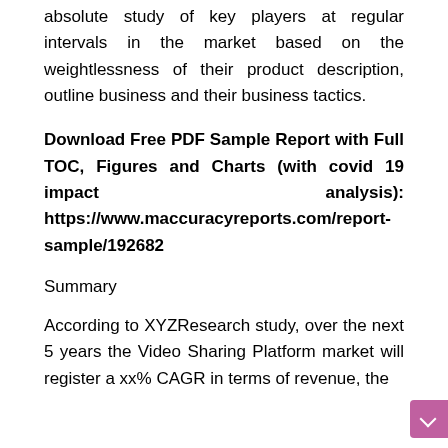absolute study of key players at regular intervals in the market based on the weightlessness of their product description, outline business and their business tactics.
Download Free PDF Sample Report with Full TOC, Figures and Charts (with covid 19 impact analysis): https://www.maccuracyreports.com/report-sample/192682
Summary
According to XYZResearch study, over the next 5 years the Video Sharing Platform market will register a xx% CAGR in terms of revenue, the